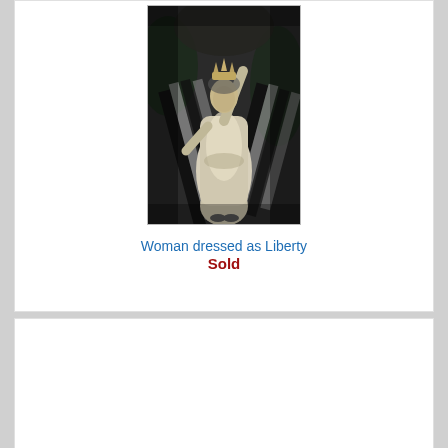[Figure (photo): Black and white photograph of a woman dressed as Liberty, wearing a crown, holding a flag with stripes draped around her, wearing a long white dress, standing in front of a dark background.]
Woman dressed as Liberty
Sold